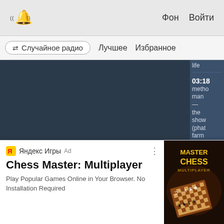((🔔)) Фон Войти
✕ Случайное радио   Лучшее   Избранное
[Figure (screenshot): Dark blue-gray media player panel showing a music playlist sidebar on the right with song entries including times 03:18, methodman, the show (phat farm beats remix), 03:15, da]
life
03:18
metho
man
—
the
show
(phat
farm
beats
remix
03:15
da
[Figure (screenshot): Ad banner at bottom: Яндекс Игры Ad logo, title Chess Master: Multiplayer, description Play Popular Games Online in Your Browser. No Installation Required, with game image on right side showing chess board]
Яндекс Игры Ad
Chess Master: Multiplayer
Play Popular Games Online in Your Browser. No Installation Required